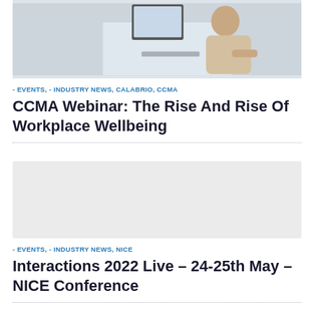[Figure (photo): Person sitting at a desk working on a computer monitor]
- EVENTS, - INDUSTRY NEWS, CALABRIO, CCMA
CCMA Webinar: The Rise And Rise Of Workplace Wellbeing
[Figure (photo): Gray placeholder image for second article]
- EVENTS, - INDUSTRY NEWS, NICE
Interactions 2022 Live – 24-25th May – NICE Conference